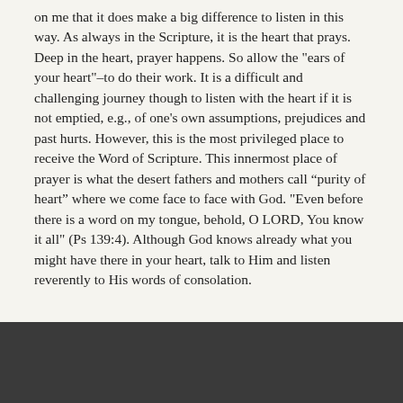on me that it does make a big difference to listen in this way. As always in the Scripture, it is the heart that prays. Deep in the heart, prayer happens. So allow the "ears of your heart"–to do their work. It is a difficult and challenging journey though to listen with the heart if it is not emptied, e.g., of one's own assumptions, prejudices and past hurts. However, this is the most privileged place to receive the Word of Scripture. This innermost place of prayer is what the desert fathers and mothers call “purity of heart” where we come face to face with God. "Even before there is a word on my tongue, behold, O LORD, You know it all" (Ps 139:4). Although God knows already what you might have there in your heart, talk to Him and listen reverently to His words of consolation.